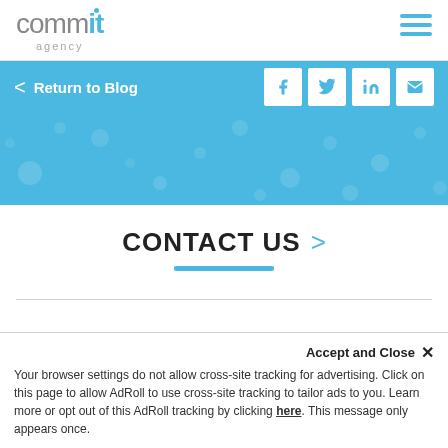[Figure (logo): Commit Agency logo with blue accent on 'it' and dot above 'i']
[Figure (illustration): Hamburger menu icon with three blue horizontal lines]
< Return to Blog
[Figure (illustration): Social media icons: Facebook, Twitter, LinkedIn, Email on white squares]
[Figure (illustration): Blue hero banner with decorative light-blue dot pattern]
CONTACT US >
Your browser settings do not allow cross-site tracking for advertising. Click on this page to allow AdRoll to use cross-site tracking to tailor ads to you. Learn more or opt out of this AdRoll tracking by clicking here. This message only appears once.